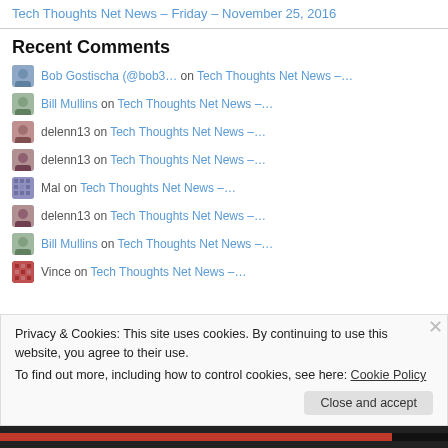Tech Thoughts Net News – Friday – November 25, 2016
Recent Comments
Bob Gostischa (@bob3... on Tech Thoughts Net News –…
Bill Mullins on Tech Thoughts Net News –…
delenn13 on Tech Thoughts Net News –…
delenn13 on Tech Thoughts Net News –…
Mal on Tech Thoughts Net News –…
delenn13 on Tech Thoughts Net News –…
Bill Mullins on Tech Thoughts Net News –…
Vince on Tech Thoughts Net News –…
Privacy & Cookies: This site uses cookies. By continuing to use this website, you agree to their use. To find out more, including how to control cookies, see here: Cookie Policy
Close and accept